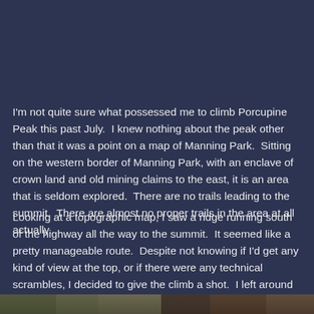I'm not quite sure what possessed me to climb Porcupine Peak this past July.  I knew nothing about the peak other than that it was a point on a map of Manning Park.  Sitting on the western border of Manning Park, with an enclave of crown land and old mining claims to the east, it is an area that is seldom explored.  There are no trails leading to the summit.  There are almost no proper trails in the area at all actually.
Looking at a topographic map, I saw a ridge running south of the highway all the way to the summit.  It seemed like a pretty manageable route.  Despite not knowing if I'd get any kind of view at the top, or if there were any technical scrambles, I decided to give the climb a shot.  I left around 11 am, which was about as late in the day as I could get away with.
[Figure (photo): Partial view of a photograph at the bottom of the page, showing what appears to be an outdoor/mountain scene, mostly cropped out.]